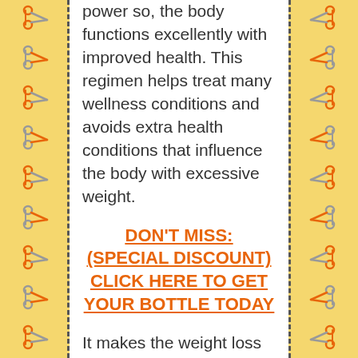power so, the body functions excellently with improved health. This regimen helps treat many wellness conditions and avoids extra health conditions that influence the body with excessive weight.
DON'T MISS: (SPECIAL DISCOUNT) CLICK HERE TO GET YOUR BOTTLE TODAY
It makes the weight loss journey much faster and assists extirpate the added kept fats from all the body parts with convenience. It has essential parts that are